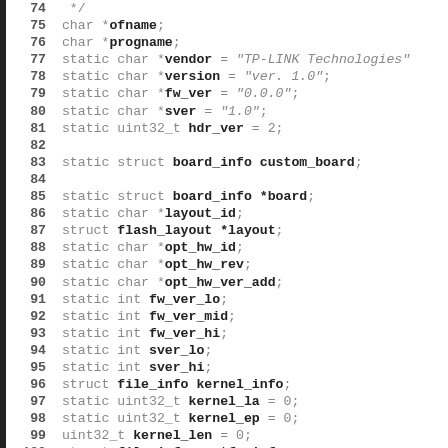74  */
75 char *ofname;
76 char *progname;
77 static char *vendor = "TP-LINK Technologies"
78 static char *version = "ver. 1.0";
79 static char *fw_ver = "0.0.0";
80 static char *sver = "1.0";
81 static uint32_t hdr_ver = 2;
82
83 static struct board_info custom_board;
84
85 static struct board_info *board;
86 static char *layout_id;
87 struct flash_layout *layout;
88 static char *opt_hw_id;
89 static char *opt_hw_rev;
90 static char *opt_hw_ver_add;
91 static int fw_ver_lo;
92 static int fw_ver_mid;
93 static int fw_ver_hi;
94 static int sver_lo;
95 static int sver_hi;
96 struct file_info kernel_info;
97 static uint32_t kernel_la = 0;
98 static uint32_t kernel_ep = 0;
99 uint32_t kernel_len = 0;
100 struct file_info rootfs_info;
101 uint32_t rootfs_ofs = 0;
102 uint32_t rootfs_align;
103 static struct file_info boot_info;